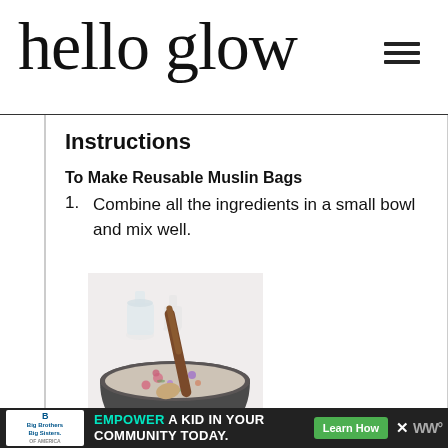hello glow
Instructions
To Make Reusable Muslin Bags
Combine all the ingredients in a small bowl and mix well.
[Figure (photo): A dark bowl filled with oats and dried flowers/herbs, with a wooden spoon inside. Two glass bottles visible in the background. Ingredients for a muslin bag recipe.]